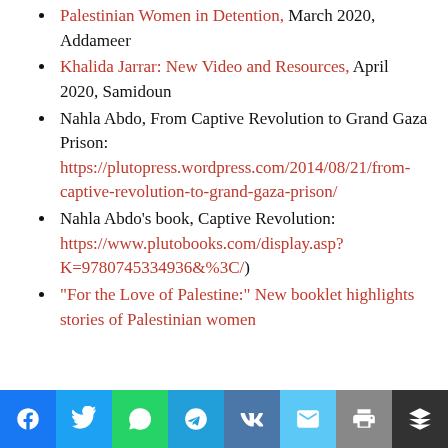Palestinian Women in Detention, March 2020, Addameer
Khalida Jarrar: New Video and Resources, April 2020, Samidoun
Nahla Abdo, From Captive Revolution to Grand Gaza Prison: https://plutopress.wordpress.com/2014/08/21/from-captive-revolution-to-grand-gaza-prison/
Nahla Abdo's book, Captive Revolution: https://www.plutobooks.com/display.asp?K=9780745334936&%3C/)
“For the Love of Palestine:” New booklet highlights stories of Palestinian women